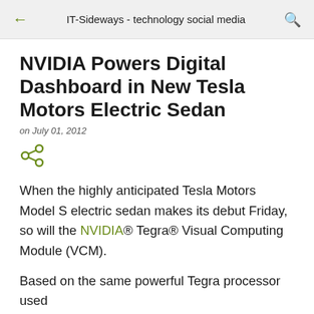IT-Sideways - technology social media
NVIDIA Powers Digital Dashboard in New Tesla Motors Electric Sedan
on July 01, 2012
[Figure (other): Share icon (green)]
When the highly anticipated Tesla Motors Model S electric sedan makes its debut Friday, so will the NVIDIA® Tegra® Visual Computing Module (VCM).
Based on the same powerful Tegra processor used